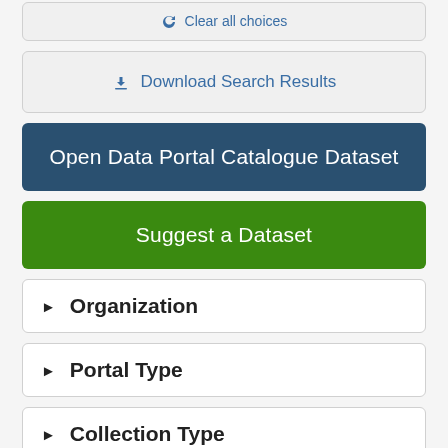↺ Clear all choices
⬇ Download Search Results
Open Data Portal Catalogue Dataset
Suggest a Dataset
▶ Organization
▶ Portal Type
▶ Collection Type
▶ Jurisdiction